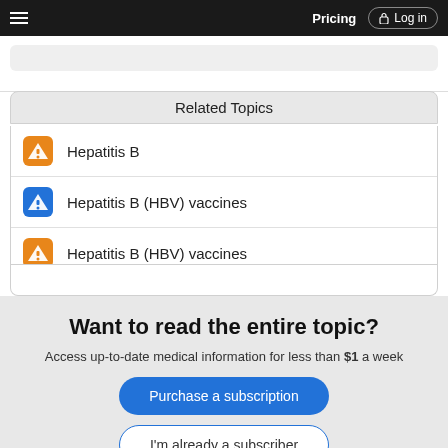Pricing  Log in
Related Topics
Hepatitis B
Hepatitis B (HBV) vaccines
Hepatitis B (HBV) vaccines
Want to read the entire topic?
Access up-to-date medical information for less than $1 a week
Purchase a subscription
I'm already a subscriber
Browse sample topics